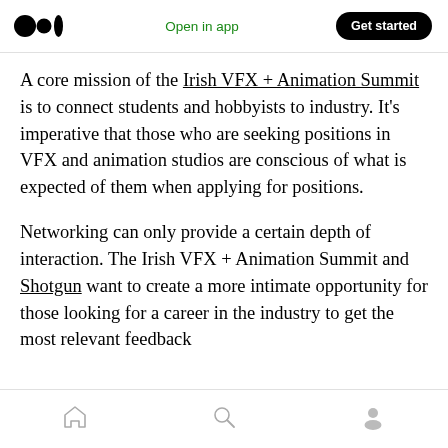Medium header bar: logo, Open in app, Get started
A core mission of the Irish VFX + Animation Summit is to connect students and hobbyists to industry. It’s imperative that those who are seeking positions in VFX and animation studios are conscious of what is expected of them when applying for positions.
Networking can only provide a certain depth of interaction. The Irish VFX + Animation Summit and Shotgun want to create a more intimate opportunity for those looking for a career in the industry to get the most relevant feedback
Bottom navigation bar with home, search, and profile icons